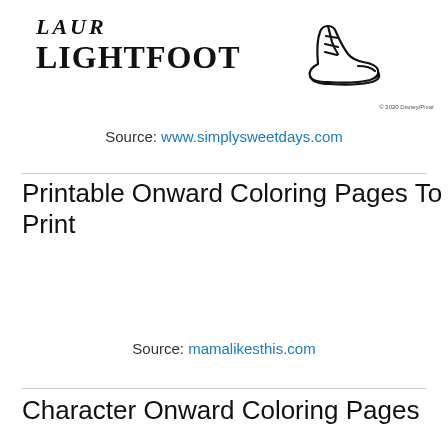[Figure (illustration): Illustration of a sneaker/shoe with text 'LIGHTFOOT' in bold serif font above it, and partial stylized text above that. Small copyright text '© 2020 Disney/Pixar' in bottom right of image area.]
Source: www.simplysweetdays.com
Printable Onward Coloring Pages To Print
Source: mamalikesthis.com
Character Onward Coloring Pages